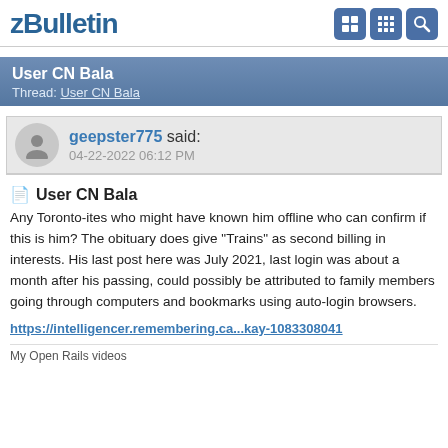vBulletin
User CN Bala
Thread: User CN Bala
geepster775 said:
04-22-2022 06:12 PM
User CN Bala
Any Toronto-ites who might have known him offline who can confirm if this is him? The obituary does give "Trains" as second billing in interests. His last post here was July 2021, last login was about a month after his passing, could possibly be attributed to family members going through computers and bookmarks using auto-login browsers.
https://intelligencer.remembering.ca...kay-1083308041
My Open Rails videos